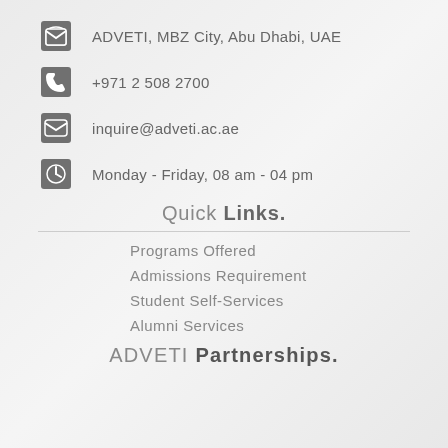ADVETI, MBZ City, Abu Dhabi, UAE
+971 2 508 2700
inquire@adveti.ac.ae
Monday - Friday, 08 am - 04 pm
Quick Links.
Programs Offered
Admissions Requirement
Student Self-Services
Alumni Services
ADVETI Partnerships.